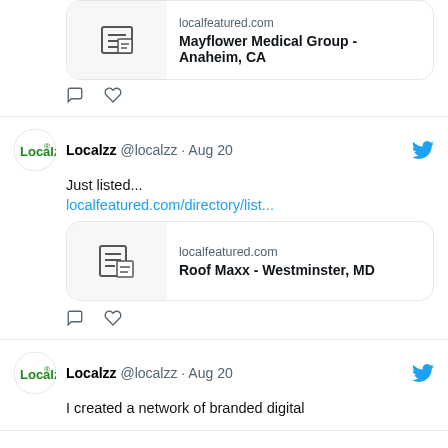[Figure (screenshot): Partial tweet showing link card for Mayflower Medical Group - Anaheim, CA with comment and like icons]
[Figure (screenshot): Tweet by Localzz @localzz Aug 20: Just listed... localfeatured.com/directory/list... with link card showing Roof Maxx - Westminster, MD]
[Figure (screenshot): Partial tweet by Localzz @localzz Aug 20: I created a network of branded digital]
[Figure (screenshot): Yellow bar/button at the bottom of the page]